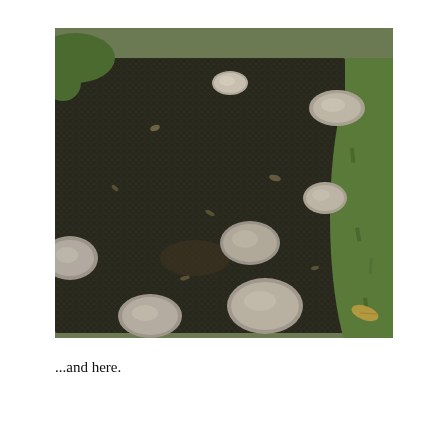[Figure (photo): Outdoor photograph showing a dark mesh/netting fabric laid over bare soil in a garden area, held down around the edges by several flat rocks. Green grass is visible on the right side and partially at top-left. A few fallen leaves and plant debris are scattered across the mesh.]
...and here.